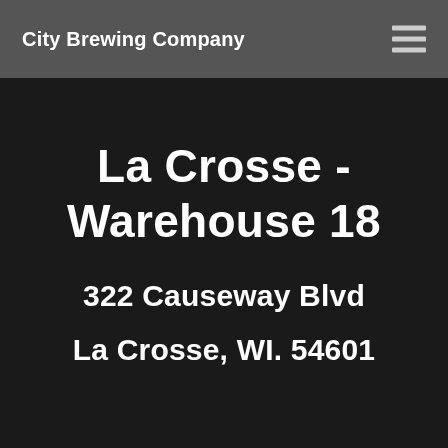City Brewing Company
La Crosse - Warehouse 18
322 Causeway Blvd
La Crosse, WI. 54601